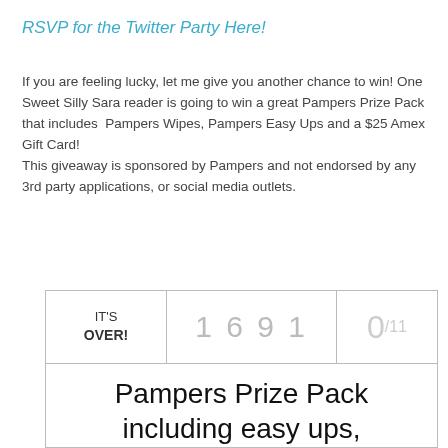RSVP for the Twitter Party Here!
If you are feeling lucky, let me give you another chance to win! One Sweet Silly Sara reader is going to win a great Pampers Prize Pack that includes Pampers Wipes, Pampers Easy Ups and a $25 Amex Gift Card!
This giveaway is sponsored by Pampers and not endorsed by any 3rd party applications, or social media outlets.
[Figure (other): A giveaway widget showing IT'S OVER! with entry count 1691 and 0/11 winners, followed by prize description: Pampers Prize Pack including easy ups, pampers wipes and a $25 Amex card!]